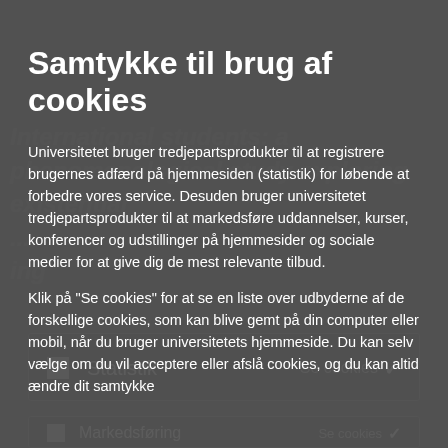Samtykke til brug af cookies
Universitetet bruger tredjepartsprodukter til at registrere brugernes adfærd på hjemmesiden (statistik) for løbende at forbedre vores service. Desuden bruger universitetet tredjepartsprodukter til at markedsføre uddannelser, kurser, konferencer og udstillinger på hjemmesider og sociale medier for at give dig de mest relevante tilbud.
Klik på "Se cookies" for at se en liste over udbyderne af de forskellige cookies, som kan blive gemt på din computer eller mobil, når du bruger universitetets hjemmeside. Du kan selv vælge om du vil acceptere eller afslå cookies, og du kan altid ændre dit samtykke
Statistik — Se cookies
Markedsføring — Se cookies